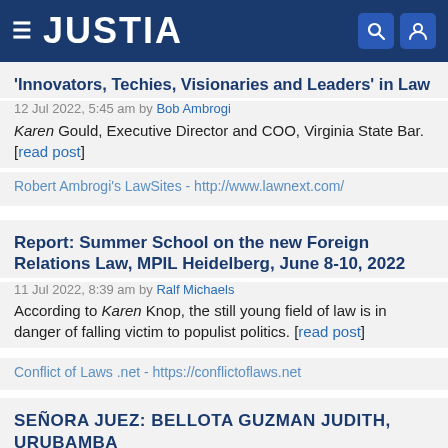JUSTIA
'Innovators, Techies, Visionaries and Leaders' in Law
12 Jul 2022, 5:45 am by Bob Ambrogi
Karen Gould, Executive Director and COO, Virginia State Bar. [read post]
Robert Ambrogi's LawSites - http://www.lawnext.com/
Report: Summer School on the new Foreign Relations Law, MPIL Heidelberg, June 8-10, 2022
11 Jul 2022, 8:39 am by Ralf Michaels
According to Karen Knop, the still young field of law is in danger of falling victim to populist politics. [read post]
Conflict of Laws .net - https://conflictoflaws.net
SEÑORA JUEZ: BELLOTA GUZMAN JUDITH, URUBAMBA